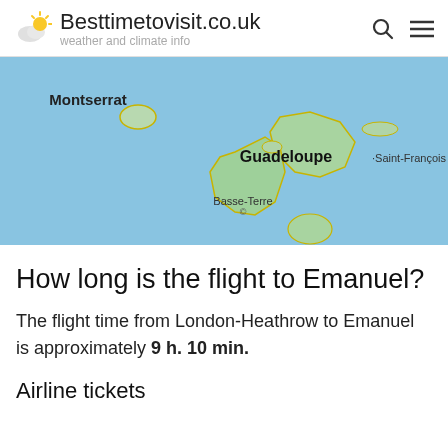Besttimetovisit.co.uk — weather and climate info
[Figure (map): Map showing Guadeloupe island region in the Caribbean Sea with labels for Montserrat, Guadeloupe, Saint-François, and Basse-Terre]
How long is the flight to Emanuel?
The flight time from London-Heathrow to Emanuel is approximately 9 h. 10 min.
Airline tickets